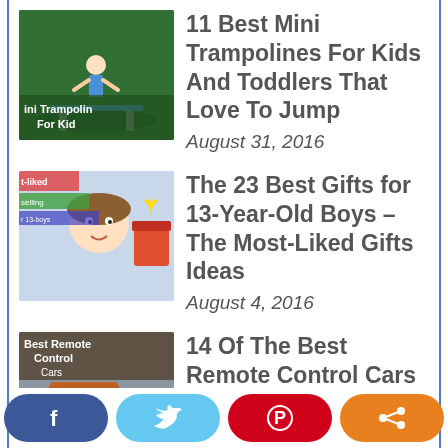[Figure (photo): Thumbnail image for mini trampolines article]
11 Best Mini Trampolines For Kids And Toddlers That Love To Jump
August 31, 2016
[Figure (photo): Thumbnail image for 13-year-old boys gifts article]
The 23 Best Gifts for 13-Year-Old Boys – The Most-Liked Gifts Ideas
August 4, 2016
[Figure (photo): Thumbnail image for remote control cars article]
14 Of The Best Remote Control Cars for Toddlers
August 7, 2016
[Figure (photo): Thumbnail image for 12-year-old girls gifts article]
The 17 Perfect Gifts for 12-Year-Old Girls